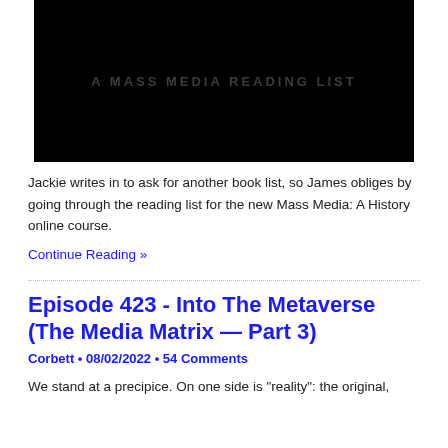[Figure (photo): Dark/black image with text 'A MASS MEDIA READING LIST' in grey letters]
Jackie writes in to ask for another book list, so James obliges by going through the reading list for the new Mass Media: A History online course.
Continue Reading »
Episode 423 - Into The Metaverse (The Media Matrix — Part 3)
Corbett • 08/02/2022 • 54 Comments
We stand at a precipice. On one side is "reality": the original,